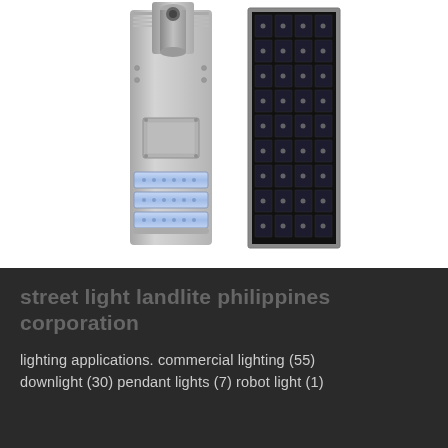[Figure (photo): Two products side by side on white background: left is an integrated all-in-one solar street light (rectangular aluminum housing with mounting bracket/pipe at top, access panel in middle, and three LED light modules at the bottom); right is a monocrystalline solar panel (tall narrow rectangular panel with 4x9 grid of dark solar cells in a silver frame).]
street light landlite philippines corporation
lighting applications. commercial lighting (55) downlight (30) pendant lights (7) robot light (1)